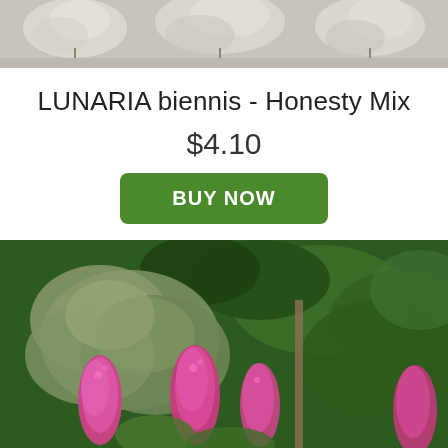[Figure (photo): Top portion of a plant photo showing dried seed pods or fluffy white plant material against a muted background]
LUNARIA biennis - Honesty Mix
$4.10
BUY NOW
[Figure (photo): Photo of pink/magenta flowering plants (Lunaria/Honesty Mix) with large green leaves and dark green foliage background]